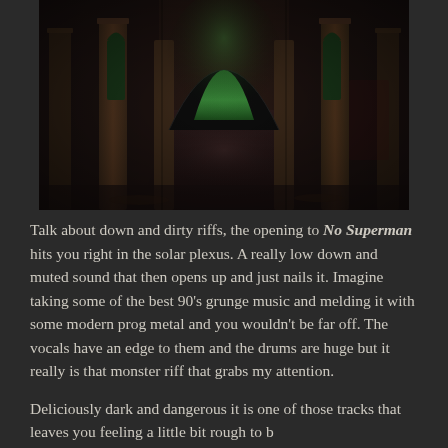[Figure (photo): Interior of an abandoned Gothic church with arched stained glass windows glowing green, crumbling columns, debris-strewn floor, dark and moody HDR photography]
Talk about down and dirty riffs, the opening to No Superman hits you right in the solar plexus. A really low down and muted sound that then opens up and just nails it. Imagine taking some of the best 90's grunge music and melding it with some modern prog metal and you wouldn't be far off. The vocals have an edge to them and the drums are huge but it really is that monster riff that grabs my attention.
Deliciously dark and dangerous it is one of those tracks that leaves you feeling a little bit rough to b...